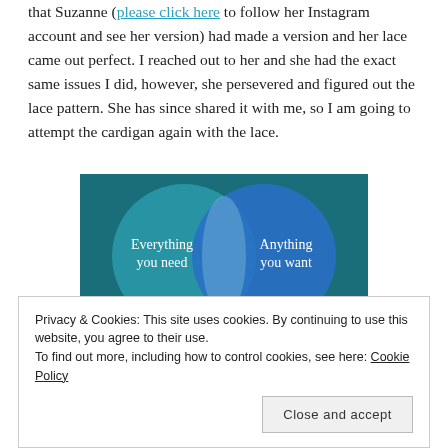that Suzanne (please click here to follow her Instagram account and see her version) had made a version and her lace came out perfect. I reached out to her and she had the exact same issues I did, however, she persevered and figured out the lace pattern. She has since shared it with me, so I am going to attempt the cardigan again with the lace.
[Figure (other): A Venn diagram style advertisement image with teal and blue circles on a dark background. Left circle reads 'Everything you need', right circle reads 'Anything you want'. A pink/magenta button is partially visible at the bottom.]
Privacy & Cookies: This site uses cookies. By continuing to use this website, you agree to their use. To find out more, including how to control cookies, see here: Cookie Policy